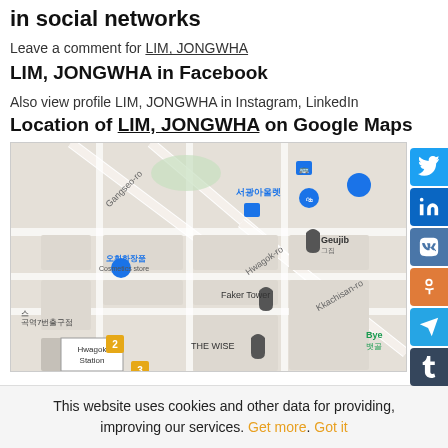in social networks
Leave a comment for LIM, JONGWHA
LIM, JONGWHA in Facebook
Also view profile LIM, JONGWHA in Instagram, LinkedIn
Location of LIM, JONGWHA on Google Maps
[Figure (map): Google Maps view centered on Hwagok area in Seoul, South Korea, showing streets including Gangseo-ro, Hwagok-ro, Kkachisan-ro, landmarks including 서광아울렛, 오휘화장품/Cosmetics store, Geujib, Faker Tower, THE WISE, and Hwagok Station.]
This website uses cookies and other data for providing, improving our services. Get more. Got it